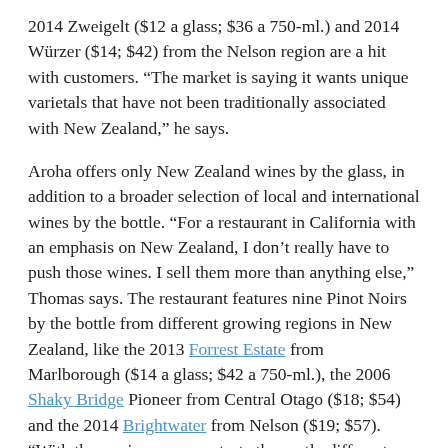2014 Zweigelt ($12 a glass; $36 a 750-ml.) and 2014 Würzer ($14; $42) from the Nelson region are a hit with customers. “The market is saying it wants unique varietals that have not been traditionally associated with New Zealand,” he says.
Aroha offers only New Zealand wines by the glass, in addition to a broader selection of local and international wines by the bottle. “For a restaurant in California with an emphasis on New Zealand, I don’t really have to push those wines. I sell them more than anything else,” Thomas says. The restaurant features nine Pinot Noirs by the bottle from different growing regions in New Zealand, like the 2013 Forrest Estate from Marlborough ($14 a glass; $42 a 750-ml.), the 2006 Shaky Bridge Pioneer from Central Otago ($18; $54) and the 2014 Brightwater from Nelson ($19; $57). “With these wines you can taste the vastly different characteristics of each region,” Thomas adds.
At New York City’s The Musket Room, wine director Brett Feore also showcases a range of New Zealand varietals and regions,